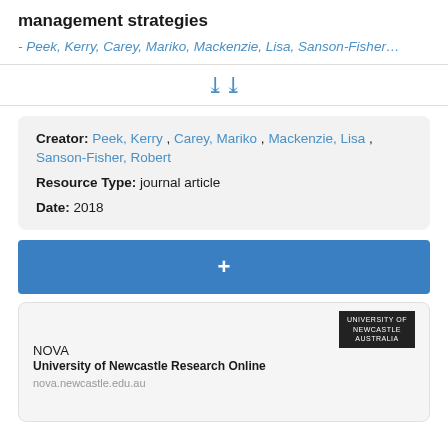management strategies
- Peek, Kerry, Carey, Mariko, Mackenzie, Lisa, Sanson-Fisher…
[Figure (other): Double chevron down arrow icon in blue, indicating expandable content]
Creator: Peek, Kerry , Carey, Mariko , Mackenzie, Lisa , Sanson-Fisher, Robert Resource Type: journal article Date: 2018
+ (Add button)
[Figure (screenshot): Preview card showing NOVA University of Newcastle Research Online with URL nova.newcastle.edu.au and a dark logo in top right]